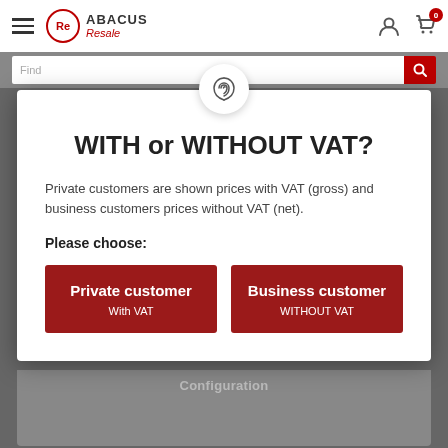[Figure (screenshot): Abacus Resale website navigation bar with hamburger menu, logo, user and cart icons]
WITH or WITHOUT VAT?
Private customers are shown prices with VAT (gross) and business customers prices without VAT (net).
Please choose:
Private customer
With VAT
Business customer
WITHOUT VAT